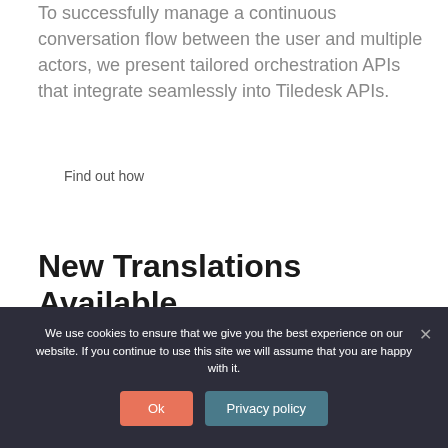To successfully manage a continuous conversation flow between the user and multiple actors, we present tailored orchestration APIs that integrate seamlessly into Tiledesk APIs.
Find out how
New Translations Available
We use cookies to ensure that we give you the best experience on our website. If you continue to use this site we will assume that you are happy with it.
Ok
Privacy policy